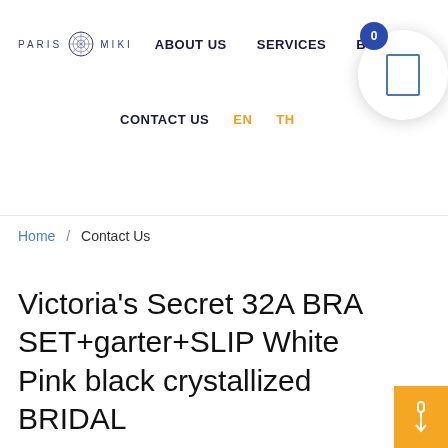PARIS MIKI | ABOUT US | SERVICES | BR...
CONTACT US  EN  TH
Home / Contact Us
Victoria's Secret 32A BRA SET+garter+SLIP White Pink black crystallized BRIDAL